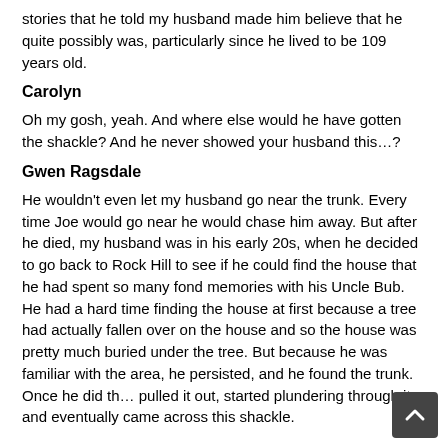stories that he told my husband made him believe that he quite possibly was, particularly since he lived to be 109 years old.
Carolyn
Oh my gosh, yeah. And where else would he have gotten the shackle? And he never showed your husband this…?
Gwen Ragsdale
He wouldn't even let my husband go near the trunk. Every time Joe would go near he would chase him away. But after he died, my husband was in his early 20s, when he decided to go back to Rock Hill to see if he could find the house that he had spent so many fond memories with his Uncle Bub. He had a hard time finding the house at first because a tree had actually fallen over on the house and so the house was pretty much buried under the tree. But because he was familiar with the area, he persisted, and he found the trunk. Once he did th… pulled it out, started plundering through it, and eventually came across this shackle.